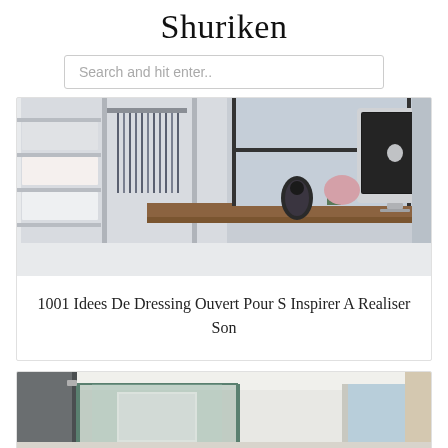Shuriken
Search and hit enter..
[Figure (photo): Interior photo showing an open wardrobe/dressing room with organized shelving, hanging clothes, and in the background a wooden desk with an Apple iMac computer near a window]
1001 Idees De Dressing Ouvert Pour S Inspirer A Realiser Son
[Figure (photo): Interior bathroom photo showing glass partition walls and a window with curtains and ocean view]